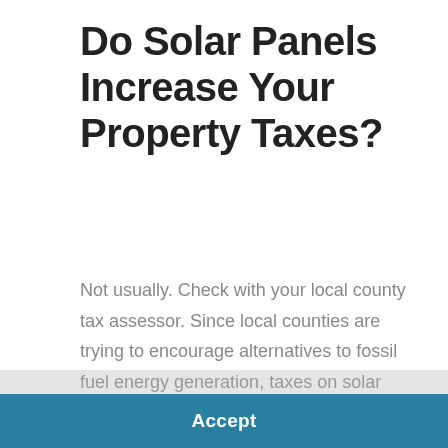Do Solar Panels Increase Your Property Taxes?
Not usually.  Check with your local county tax assessor. Since local counties are trying to encourage alternatives to fossil fuel energy generation, taxes on solar systems are discouraged policy makers.
We use cookies to optimize our website and our service.  Cookie Policy
Accept